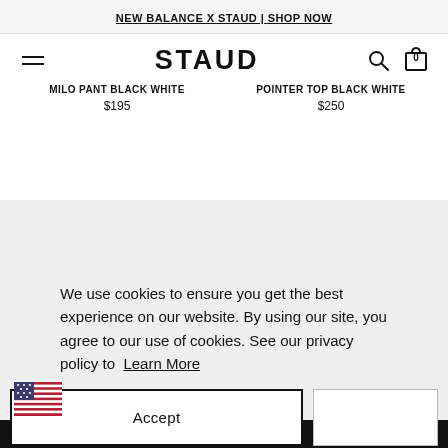NEW BALANCE X STAUD | SHOP NOW
STAUD
MILO PANT BLACK WHITE
$195
POINTER TOP BLACK WHITE
$250
We use cookies to ensure you get the best experience on our website. By using our site, you agree to our use of cookies. See our privacy policy to Learn More
Accept